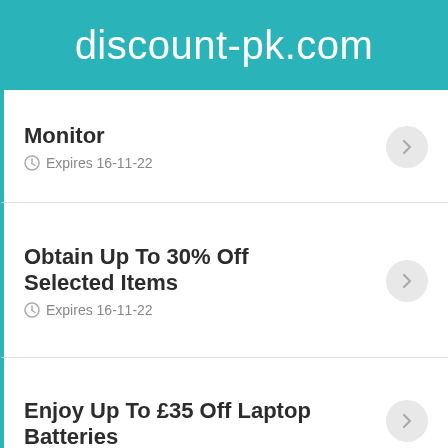discount-pk.com
Monitor
Expires 16-11-22
Obtain Up To 30% Off Selected Items
Expires 16-11-22
Enjoy Up To £35 Off Laptop Batteries
Expires 17-10-22
More...